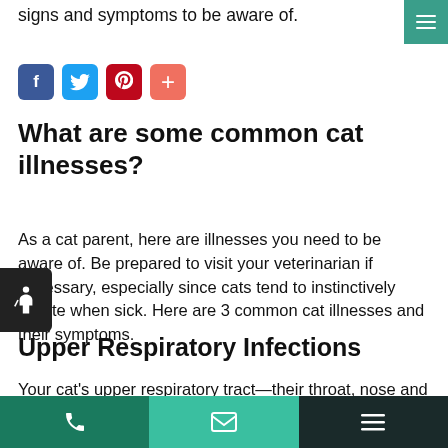signs and symptoms to be aware of.
[Figure (other): Hamburger menu icon button in teal/green square]
[Figure (other): Social media sharing buttons: Facebook (blue), Twitter (light blue), Pinterest (red), Plus/share (orange-red)]
What are some common cat illnesses?
As a cat parent, here are illnesses you need to be aware of. Be prepared to visit your veterinarian if necessary, especially since cats tend to instinctively isolate when sick. Here are 3 common cat illnesses and their symptoms.
[Figure (other): Accessibility (wheelchair) icon badge on left side]
Upper Respiratory Infections
Your cat's upper respiratory tract—their throat, nose and sinuses—can become infected with viruses and bacteria. Often passed around in multi-cat households and shelters,
Phone | Email | Menu